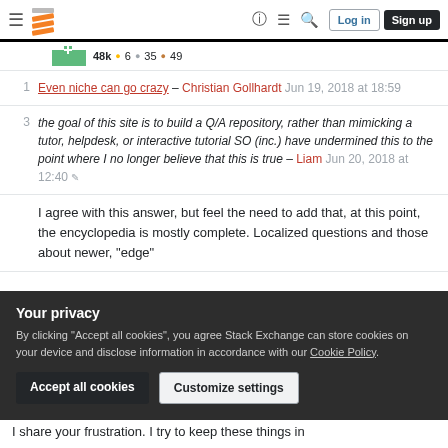Stack Exchange navigation bar with Log in and Sign up buttons
48k • 6 • 35 • 49
1  Even niche can go crazy – Christian Gollhardt Jun 19, 2018 at 18:59
3  the goal of this site is to build a Q/A repository, rather than mimicking a tutor, helpdesk, or interactive tutorial SO (inc.) have undermined this to the point where I no longer believe that this is true – Liam Jun 20, 2018 at 12:40
I agree with this answer, but feel the need to add that, at this point, the encyclopedia is mostly complete. Localized questions and those about newer, "edge"
Your privacy
By clicking "Accept all cookies", you agree Stack Exchange can store cookies on your device and disclose information in accordance with our Cookie Policy.
Accept all cookies  Customize settings
I share your frustration. I try to keep these things in